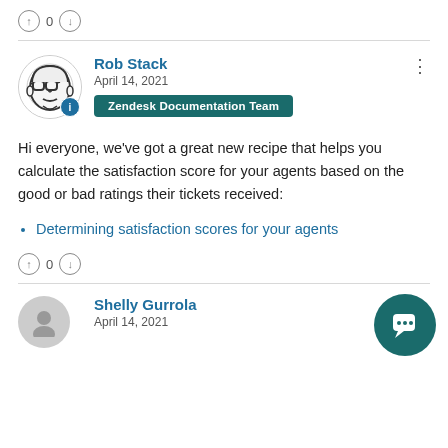↑ 0 ↓
Rob Stack
April 14, 2021
Zendesk Documentation Team
Hi everyone, we've got a great new recipe that helps you calculate the satisfaction score for your agents based on the good or bad ratings their tickets received:
Determining satisfaction scores for your agents
↑ 0 ↓
Shelly Gurrola
April 14, 2021